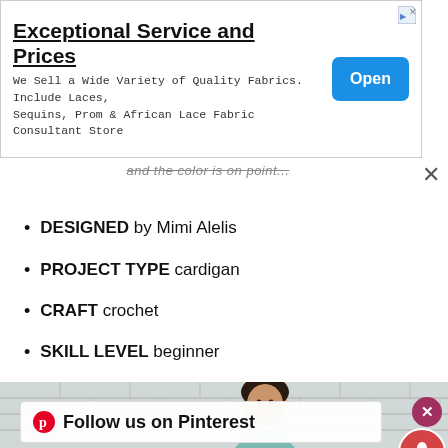[Figure (screenshot): Advertisement banner: 'Exceptional Service and Prices' with subtitle about fabrics, and a blue 'Open' button on the right.]
and the color is on point...
DESIGNED by Mimi Alelis
PROJECT TYPE cardigan
CRAFT crochet
SKILL LEVEL beginner
[Figure (photo): Photo of a smiling young woman with dark hair in front of a white brick wall, wearing a light blue/teal crochet cardigan.]
Follow us on Pinterest